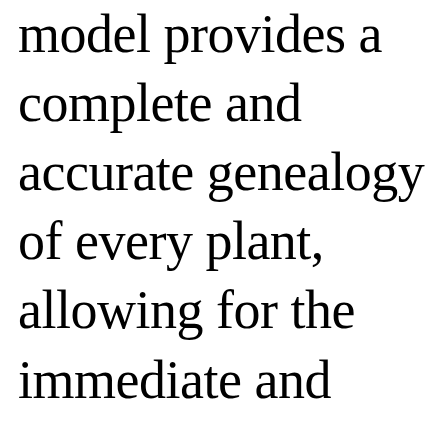model provides a complete and accurate genealogy of every plant, allowing for the immediate and